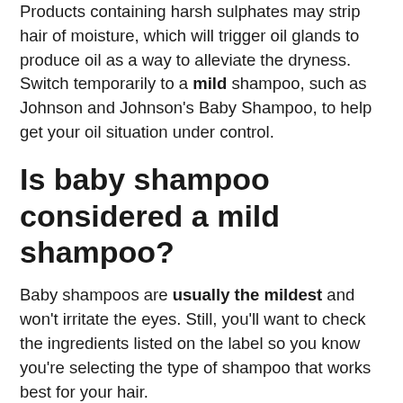Products containing harsh sulphates may strip hair of moisture, which will trigger oil glands to produce oil as a way to alleviate the dryness. Switch temporarily to a mild shampoo, such as Johnson and Johnson's Baby Shampoo, to help get your oil situation under control.
Is baby shampoo considered a mild shampoo?
Baby shampoos are usually the mildest and won't irritate the eyes. Still, you'll want to check the ingredients listed on the label so you know you're selecting the type of shampoo that works best for your hair.
Can I use baby shampoo